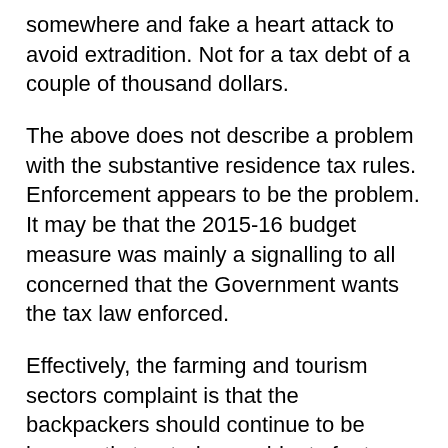somewhere and fake a heart attack to avoid extradition. Not for a tax debt of a couple of thousand dollars.
The above does not describe a problem with the substantive residence tax rules. Enforcement appears to be the problem. It may be that the 2015-16 budget measure was mainly a signalling to all concerned that the Government wants the tax law enforced.
Effectively, the farming and tourism sectors complaint is that the backpackers should continue to be incorrectly treated as residents for tax purposes, or that something similar to that tax treatment should apply to backpackers. As a result of the announced delay, a full policy analysis can be undertaken which can take account of all stakeholder interests in the issue.